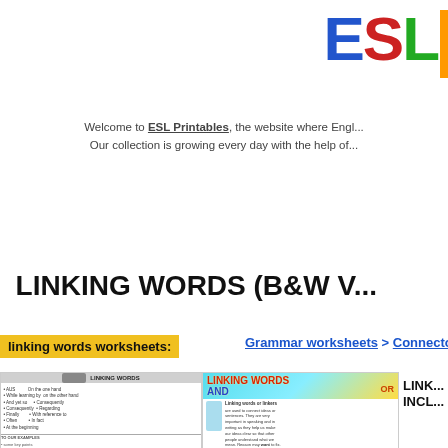[Figure (logo): ESL Printables colorful logo — E in blue, S in red, L in green, vertical orange bar]
Welcome to ESL Printables, the website where Engl... Our collection is growing every day with the help of...
LINKING WORDS (B&W V...
linking words worksheets:
Grammar worksheets > Connectors ...
[Figure (screenshot): Thumbnail of linking words worksheet showing LINKING WORDS header]
[Figure (screenshot): Thumbnail of colorful linking words poster with LINKING WORDS AND OR text]
[Figure (screenshot): Thumbnail showing LINK... INCL... text in bold]